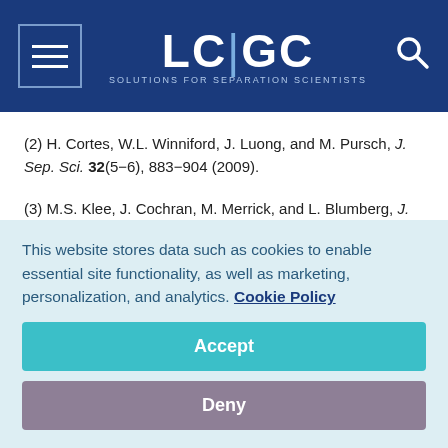LC|GC — Solutions for Separation Scientists
(2) H. Cortes, W.L. Winniford, J. Luong, and M. Pursch, J. Sep. Sci. 32(5−6), 883−904 (2009).
(3) M.S. Klee, J. Cochran, M. Merrick, and L. Blumberg, J. Chromatogr. A 1383 151−159 (2015).
(4) J.H. Waite, Science, 311, 1419−1422 (2006).
(5) A. Manolis, Clin. Chem. 29, 5 (1983).
This website stores data such as cookies to enable essential site functionality, as well as marketing, personalization, and analytics. Cookie Policy